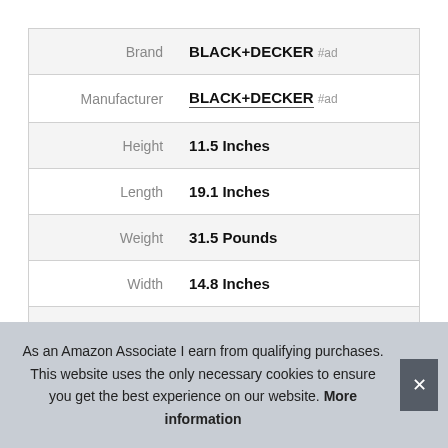| Attribute | Value |
| --- | --- |
| Brand | BLACK+DECKER #ad |
| Manufacturer | BLACK+DECKER #ad |
| Height | 11.5 Inches |
| Length | 19.1 Inches |
| Weight | 31.5 Pounds |
| Width | 14.8 Inches |
| Part Number | EM925AB9 |
| Model | EM925AB9 |
As an Amazon Associate I earn from qualifying purchases. This website uses the only necessary cookies to ensure you get the best experience on our website. More information